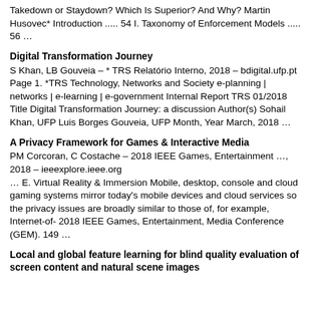Takedown or Staydown? Which Is Superior? And Why? Martin Husovec* Introduction ..... 54 I. Taxonomy of Enforcement Models ..... 56 ...
Digital Transformation Journey
S Khan, LB Gouveia – * TRS Relatório Interno, 2018 – bdigital.ufp.pt
Page 1. *TRS Technology, Networks and Society e-planning | networks | e-learning | e-government Internal Report TRS 01/2018 Title Digital Transformation Journey: a discussion Author(s) Sohail Khan, UFP Luis Borges Gouveia, UFP Month, Year March, 2018 …
A Privacy Framework for Games & Interactive Media
PM Corcoran, C Costache – 2018 IEEE Games, Entertainment …, 2018 – ieeexplore.ieee.org
… E. Virtual Reality & Immersion Mobile, desktop, console and cloud gaming systems mirror today's mobile devices and cloud services so the privacy issues are broadly similar to those of, for example, Internet-of- 2018 IEEE Games, Entertainment, Media Conference (GEM). 149 …
Local and global feature learning for blind quality evaluation of screen content and natural scene images